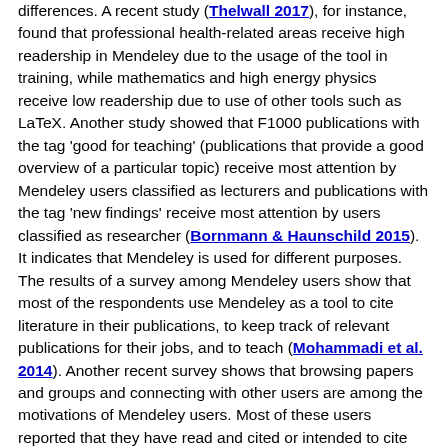differences. A recent study (Thelwall 2017), for instance, found that professional health-related areas receive high readership in Mendeley due to the usage of the tool in training, while mathematics and high energy physics receive low readership due to use of other tools such as LaTeX. Another study showed that F1000 publications with the tag 'good for teaching' (publications that provide a good overview of a particular topic) receive most attention by Mendeley users classified as lecturers and publications with the tag 'new findings' receive most attention by users classified as researcher (Bornmann & Haunschild 2015). It indicates that Mendeley is used for different purposes. The results of a survey among Mendeley users show that most of the respondents use Mendeley as a tool to cite literature in their publications, to keep track of relevant publications for their jobs, and to teach (Mohammadi et al. 2014). Another recent survey shows that browsing papers and groups and connecting with other users are among the motivations of Mendeley users. Most of these users reported that they have read and cited or intended to cite most of the items in their Mendeley library (Chen et al. 2018). Moreover, research-based features (managing documents and citations) in Mendeley are more popular by members of online groups than social-based features (making friends and connections) (Jeng, He & Jiang 2015). The results from these previous studies coincide with the results of a recent survey (Tenopir et al. 2015) which indicates that the main reason for reading scientific